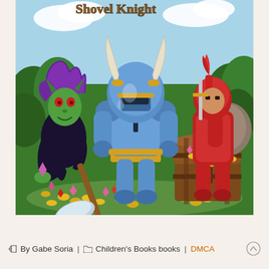[Figure (illustration): Video game book cover illustration showing three cartoon characters: a blue armored knight with horns and a shovel (Shovel Knight) in the center, a green goblin-like character with purple hair on the left, and a red armored warrior with a shield on the right. In the foreground there is a treasure chest overflowing with gold coins and pink gemstones/diamonds. The background shows a forest/outdoor scene.]
By Gabe Soria | Children's Books books | DMCA